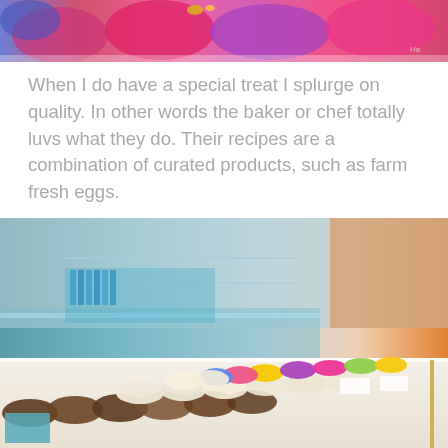[Figure (photo): Colorful macarons in pink, purple, and other vibrant colors, partially cropped at top of page]
When I do have a special treat I splurge on quality. In other words the baker or chef totally luvs what they do. Their recipes are a combination of curated products, such as farm fresh eggs.
[Figure (photo): Interior of a bakery shop showing rows of colorful macarons displayed on a counter, with glass cases and orange-lit interior in background]